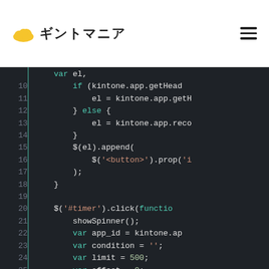ギントマニア (kintone mania logo)
[Figure (screenshot): Code editor screenshot showing JavaScript code with line numbers 10-31 on dark background. Lines include jQuery and kintone API calls with syntax highlighting.]